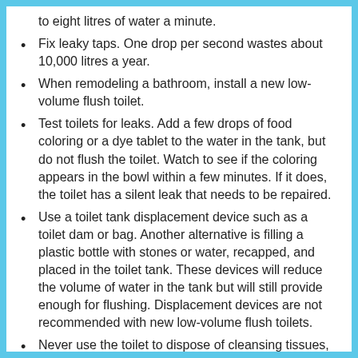to eight litres of water a minute.
Fix leaky taps. One drop per second wastes about 10,000 litres a year.
When remodeling a bathroom, install a new low-volume flush toilet.
Test toilets for leaks. Add a few drops of food coloring or a dye tablet to the water in the tank, but do not flush the toilet. Watch to see if the coloring appears in the bowl within a few minutes. If it does, the toilet has a silent leak that needs to be repaired.
Use a toilet tank displacement device such as a toilet dam or bag. Another alternative is filling a plastic bottle with stones or water, recapped, and placed in the toilet tank. These devices will reduce the volume of water in the tank but will still provide enough for flushing. Displacement devices are not recommended with new low-volume flush toilets.
Never use the toilet to dispose of cleansing tissues,